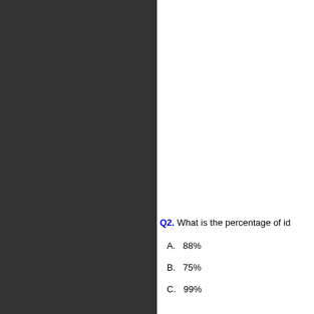[Figure (other): Dark grey textured background panel occupying the left half of the page]
Q2. What is the percentage of id
A.   88%
B.   75%
C.   99%